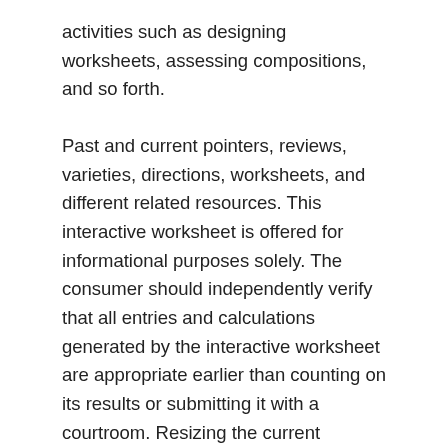activities such as designing worksheets, assessing compositions, and so forth.
Past and current pointers, reviews, varieties, directions, worksheets, and different related resources. This interactive worksheet is offered for informational purposes solely. The consumer should independently verify that all entries and calculations generated by the interactive worksheet are appropriate earlier than counting on its results or submitting it with a courtroom. Resizing the current warehouse to dynamically enhance or decrease the compute resources utilized for executing your queries and other DML statements.
Visit the reading comprehension web page for a whole collection of fiction passages and nonfiction articles for grades one via six. Enter the price paid by each parent for